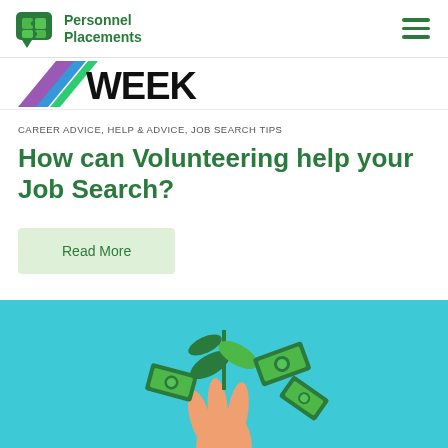Personnel Placements
[Figure (logo): Partial banner with 'WEEK' text logo in black, with colorful diagonal stripe accent on left]
CAREER ADVICE, HELP & ADVICE, JOB SEARCH TIPS
How can Volunteering help your Job Search?
Read More
[Figure (illustration): Illustration on teal/turquoise background showing a hand holding a plant stem with leaves and green dollar bills flying around]